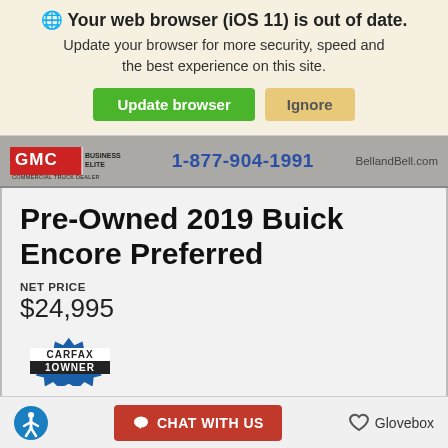Your web browser (iOS 11) is out of date. Update your browser for more security, speed and the best experience on this site.
Update browser | Ignore
[Figure (logo): GMC Business Elite Commercial Truck Dealer logo with phone number 1-877-904-1991 and BellandBell.com]
Pre-Owned 2019 Buick Encore Preferred
NET PRICE
$24,995
[Figure (logo): CARFAX 1 OWNER badge]
CARFAX 1-Owner, GREAT MILES 32,035! PRICE DROP FROM $27,000, EPA 30 MPG Hwy/25 MPG City! Preferred trim. Onboard Communications System,
CHAT WITH US | Glovebox